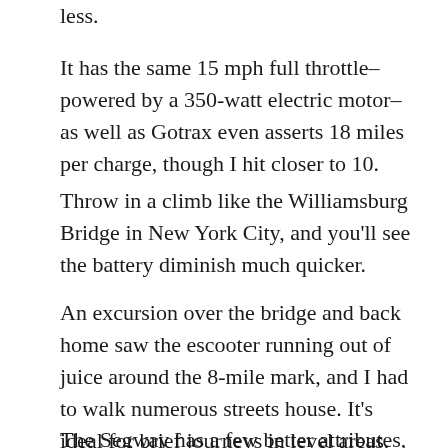less.
It has the same 15 mph full throttle– powered by a 350-watt electric motor– as well as Gotrax even asserts 18 miles per charge, though I hit closer to 10.
Throw in a climb like the Williamsburg Bridge in New York City, and you'll see the battery diminish much quicker.
An excursion over the bridge and back home saw the escooter running out of juice around the 8-mile mark, and I had to walk numerous streets house. It's ideal for brief journeys in level areas.
The Segway has a few better attributes, like the